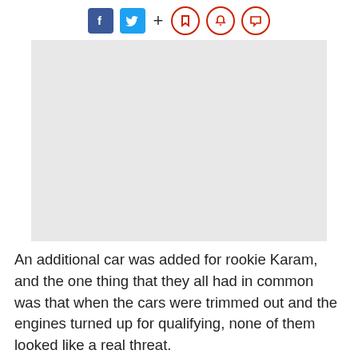[Figure (other): Social media sharing icons: Facebook (blue square with f), Twitter (blue square with bird), plus sign, and three red circle icons (bookmark, bell, comment)]
[Figure (photo): A gray placeholder image rectangle representing a photo related to the article]
An additional car was added for rookie Karam, and the one thing that they all had in common was that when the cars were trimmed out and the engines turned up for qualifying, none of them looked like a real threat.
It was a different story 24 hours later though, when the cars reverted to race spec for practice on Monday